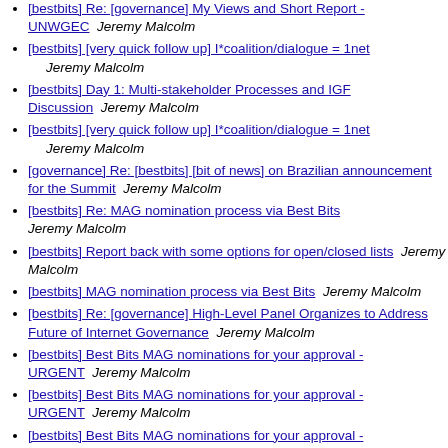[bestbits] Re: [governance] My Views and Short Report - UNWGEC   Jeremy Malcolm
[bestbits] [very quick follow up] I*coalition/dialogue = 1net   Jeremy Malcolm
[bestbits] Day 1: Multi-stakeholder Processes and IGF Discussion   Jeremy Malcolm
[bestbits] [very quick follow up] I*coalition/dialogue = 1net   Jeremy Malcolm
[governance] Re: [bestbits] [bit of news] on Brazilian announcement for the Summit   Jeremy Malcolm
[bestbits] Re: MAG nomination process via Best Bits   Jeremy Malcolm
[bestbits] Report back with some options for open/closed lists   Jeremy Malcolm
[bestbits] MAG nomination process via Best Bits   Jeremy Malcolm
[bestbits] Re: [governance] High-Level Panel Organizes to Address Future of Internet Governance   Jeremy Malcolm
[bestbits] Best Bits MAG nominations for your approval - URGENT   Jeremy Malcolm
[bestbits] Best Bits MAG nominations for your approval - URGENT   Jeremy Malcolm
[bestbits] Best Bits MAG nominations for your approval - URGENT   Jeremy Malcolm
[bestbits] Best Bits MAG nominations for your approval - URGENT   Jeremy Malcolm